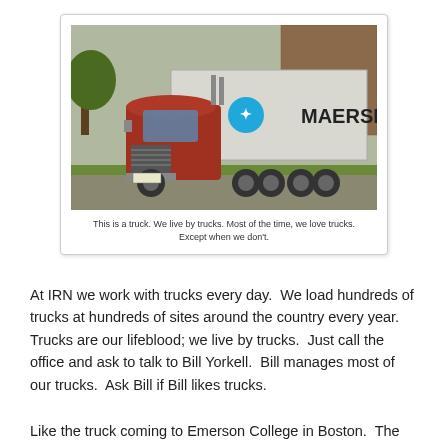[Figure (photo): A red semi-truck with a Maersk shipping container trailer, parked near a brick building with green grass in the foreground.]
This is a truck. We live by trucks. Most of the time, we love trucks. Except when we don't.
At IRN we work with trucks every day.  We load hundreds of trucks at hundreds of sites around the country every year.  Trucks are our lifeblood; we live by trucks.  Just call the office and ask to talk to Bill Yorkell.  Bill manages most of our trucks.  Ask Bill if Bill likes trucks.
Like the truck coming to Emerson College in Boston.  The